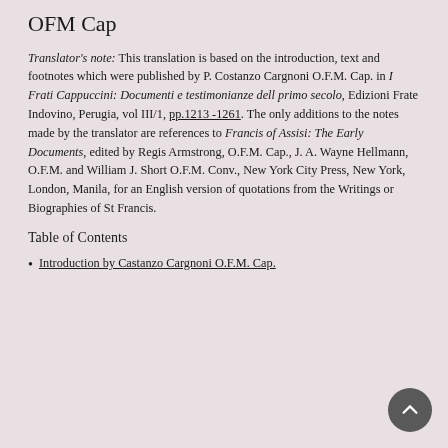OFM Cap
Translator's note: This translation is based on the introduction, text and footnotes which were published by P. Costanzo Cargnoni O.F.M. Cap. in I Frati Cappuccini: Documenti e testimonianze dell primo secolo, Edizioni Frate Indovino, Perugia, vol III/1, pp.1213 -1261. The only additions to the notes made by the translator are references to Francis of Assisi: The Early Documents, edited by Regis Armstrong, O.F.M. Cap., J. A. Wayne Hellmann, O.F.M. and William J. Short O.F.M. Conv., New York City Press, New York, London, Manila, for an English version of quotations from the Writings or Biographies of St Francis.
Table of Contents
Introduction by Castanzo Cargnoni O.F.M. Cap.